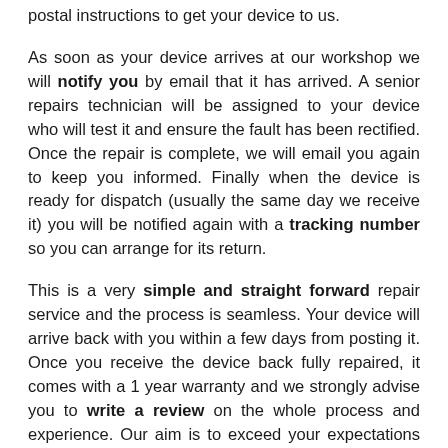postal instructions to get your device to us.
As soon as your device arrives at our workshop we will notify you by email that it has arrived. A senior repairs technician will be assigned to your device who will test it and ensure the fault has been rectified. Once the repair is complete, we will email you again to keep you informed. Finally when the device is ready for dispatch (usually the same day we receive it) you will be notified again with a tracking number so you can arrange for its return.
This is a very simple and straight forward repair service and the process is seamless. Your device will arrive back with you within a few days from posting it. Once you receive the device back fully repaired, it comes with a 1 year warranty and we strongly advise you to write a review on the whole process and experience. Our aim is to exceed your expectations so that you can spread positivity about our streamline business processes.